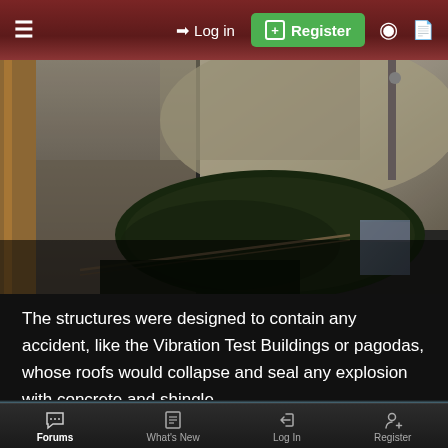≡  → Log in  ⊞ Register
[Figure (photo): Aerial/overhead view of an abandoned circular concrete basin or pit structure with mossy ground, concrete walls, metal fencing, and rusted debris]
The structures were designed to contain any accident, like the Vibration Test Buildings or pagodas, whose roofs would collapse and seal any explosion with concrete and shingle.
[Figure (photo): Partial view of another outdoor photo showing blue sky and a dark peaked building roof]
Forums  What's New  Log In  Register